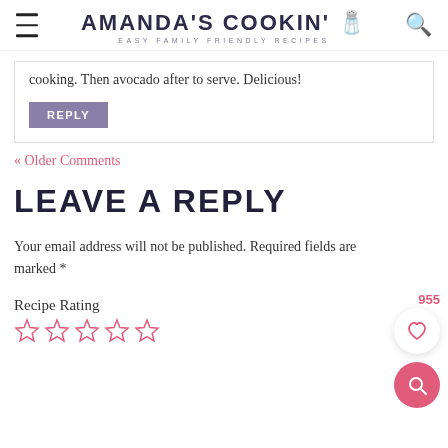AMANDA'S COOKIN' — EASY FAMILY FRIENDLY RECIPES
cooking. Then avocado after to serve. Delicious!
REPLY
« Older Comments
LEAVE A REPLY
Your email address will not be published. Required fields are marked *
Recipe Rating